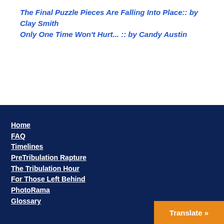The Final Puzzle Pieces Are Falling Into Place:: by Clay Smith
Only One Time Won't Hurt... :: by Candy Austin
Home
FAQ
Timelines
PreTribulation Rapture
The Tribulation Hour
For Those Left Behind
PhotoRama
Glossary
Translate »